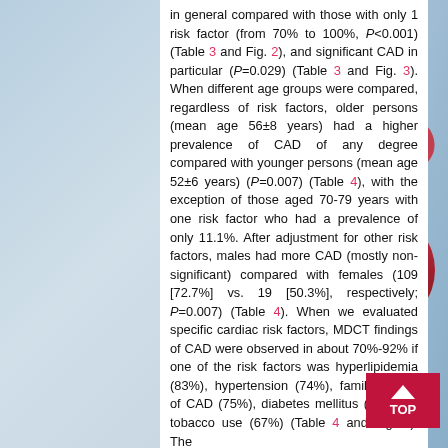in general compared with those with only 1 risk factor (from 70% to 100%, P<0.001) (Table 3 and Fig. 2), and significant CAD in particular (P=0.029) (Table 3 and Fig. 3). When different age groups were compared, regardless of risk factors, older persons (mean age 56±8 years) had a higher prevalence of CAD of any degree compared with younger persons (mean age 52±6 years) (P=0.007) (Table 4), with the exception of those aged 70-79 years with one risk factor who had a prevalence of only 11.1%. After adjustment for other risk factors, males had more CAD (mostly non-significant) compared with females (109 [72.7%] vs. 19 [50.3%], respectively; P=0.007) (Table 4). When we evaluated specific cardiac risk factors, MDCT findings of CAD were observed in about 70%-92% if one of the risk factors was hyperlipidemia (83%), hypertension (74%), family history of CAD (75%), diabetes mellitus (92%), or tobacco use (67%) (Table 4 and Fig. 4). The
[Figure (illustration): Anatomical illustration of a human heart on a blue-toned background, positioned on the right side of the page]